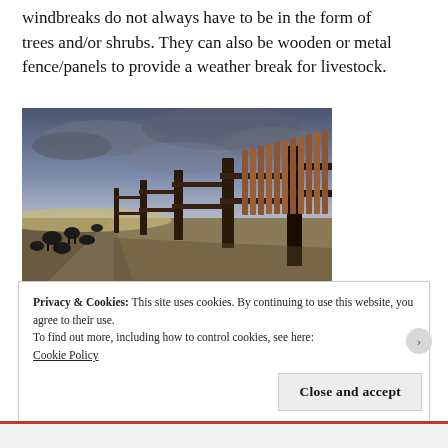windbreaks do not always have to be in the form of trees and/or shrubs. They can also be wooden or metal fence/panels to provide a weather break for livestock.
[Figure (photo): Photograph of a long wooden fence/panel windbreak in a flat, open landscape. Black cattle are visible on the left side of the fence. The sky is overcast with dark clouds. The fence is made of vertical wooden slats with horizontal rails and dark metal posts.]
Privacy & Cookies: This site uses cookies. By continuing to use this website, you agree to their use.
To find out more, including how to control cookies, see here:
Cookie Policy
Close and accept